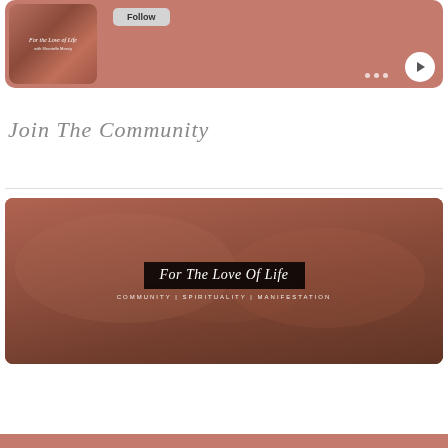[Figure (screenshot): Social media card with mauve/rose background showing a podcast or video thumbnail on the left with cursive 'For the Love of Life' text and 'with Shantelle Moncy' subtitle, a Follow button, three dots menu, and a white circular play button on the right]
Join The Community
[Figure (photo): Community banner image showing two people holding hands with a dark semi-transparent box overlay containing cursive 'For The Love Of Life' title and subtitle 'Community | Spirituality | Manifestation']